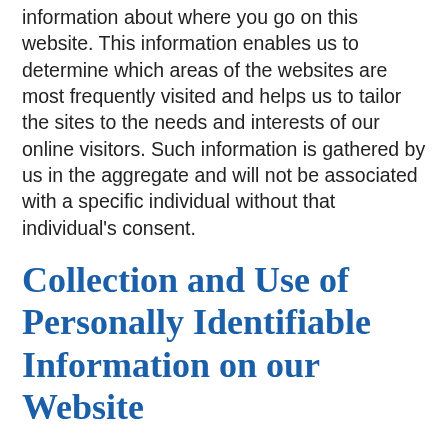information about where you go on this website. This information enables us to determine which areas of the websites are most frequently visited and helps us to tailor the sites to the needs and interests of our online visitors. Such information is gathered by us in the aggregate and will not be associated with a specific individual without that individual's consent.
Collection and Use of Personally Identifiable Information on our Website
There are instances where we request personal information such as name, address, phone number and e-mail address on our site, such as to provide you with a